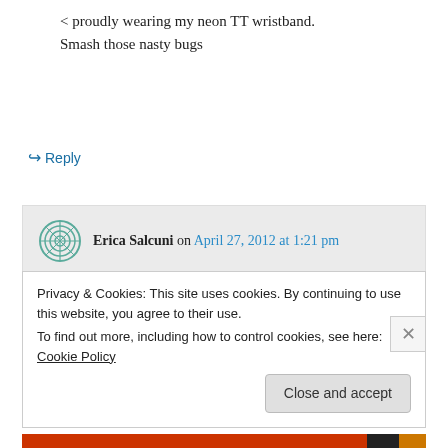< proudly wearing my neon TT wristband. Smash those nasty bugs
↪ Reply
Erica Salcuni on April 27, 2012 at 1:21 pm
me too!
↪ Reply
Privacy & Cookies: This site uses cookies. By continuing to use this website, you agree to their use. To find out more, including how to control cookies, see here: Cookie Policy
Close and accept